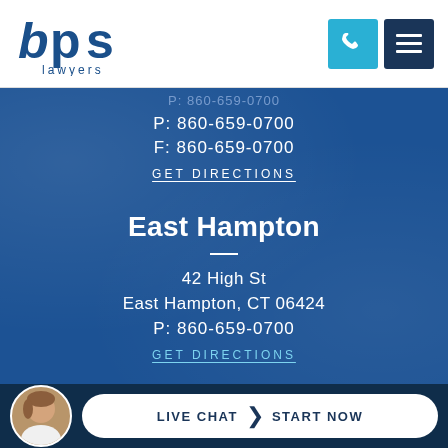[Figure (logo): BPS Lawyers logo — bold blue stylized 'bps' text with 'lawyers' beneath]
P: 860-659-0700
F: 860-659-0700
GET DIRECTIONS
East Hampton
42 High St
East Hampton, CT 06424
P: 860-659-0700
GET DIRECTIONS
LIVE CHAT  START NOW